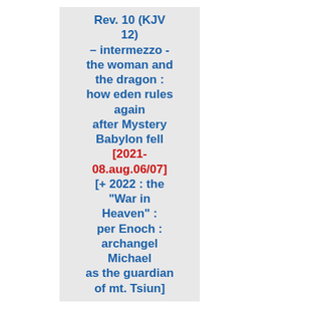Rev. 10 (KJV 12) – intermezzo - the woman and the dragon : how eden rules again after Mystery Babylon fell [2021-08.aug.06/07] [+ 2022 : the "War in Heaven" : per Enoch : archangel Michael as the guardian of mt. Tsiun]